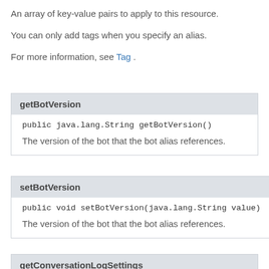An array of key-value pairs to apply to this resource.
You can only add tags when you specify an alias.
For more information, see Tag .
getBotVersion
public java.lang.String getBotVersion()
The version of the bot that the bot alias references.
setBotVersion
public void setBotVersion(java.lang.String value)
The version of the bot that the bot alias references.
getConversationLogSettings